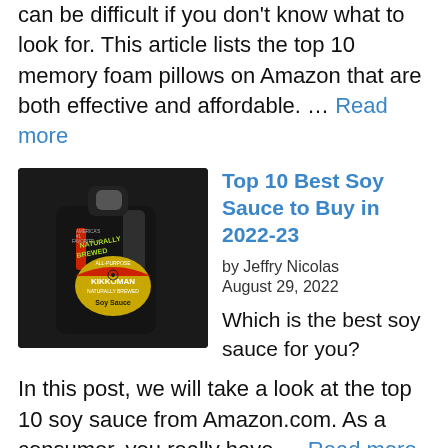can be difficult if you don't know what to look for. This article lists the top 10 memory foam pillows on Amazon that are both effective and affordable. … Read more
[Figure (photo): A large black bottle of Kikkoman Naturally Brewed All-Purpose Soy Sauce with a yellow and red label]
Top 10 Best Soy Sauce to Buy in 2022-23
by Jeffry Nicolas
August 29, 2022
Which is the best soy sauce for you? In this post, we will take a look at the top 10 soy sauce from Amazon.com. As a consumer, you really have … Read more